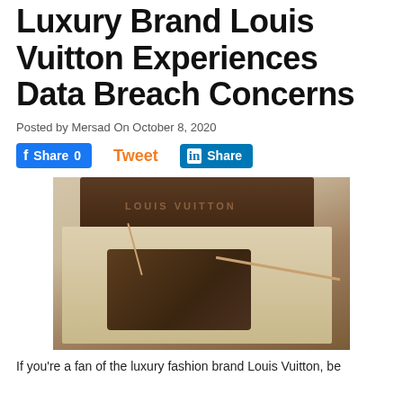Luxury Brand Louis Vuitton Experiences Data Breach Concerns
Posted by Mersad On October 8, 2020
[Figure (infographic): Social media share buttons: Facebook Share 0, Tweet, LinkedIn Share]
[Figure (photo): Photo of a Louis Vuitton handbag in a presentation box with tissue paper, with visible Louis Vuitton branding on the dark brown box.]
If you're a fan of the luxury fashion brand Louis Vuitton, be